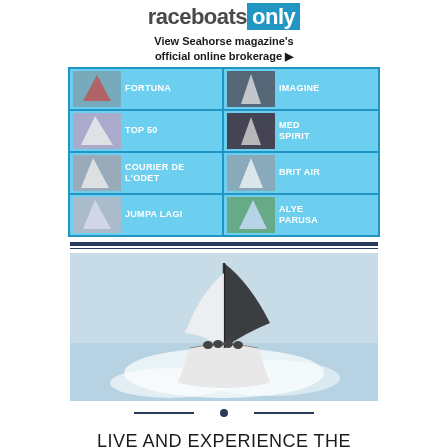[Figure (logo): raceboatsonly logo with blue background on 'only']
View Seahorse magazine's official online brokerage ▶
[Figure (infographic): 2x4 grid of boat listings: FORTUNA, IMAGINE, TOP 50, MED SPIRIT, COURIER DE L'ODET, BRIT AIR, JUMPA LAGI, ALYE PARUSA]
[Figure (photo): Sailing yacht racing, bow-on view cutting through white water, black spinnaker visible]
LIVE AND EXPERIENCE THE RACING SWAN LINE
[Figure (photo): Partial bottom sailing/brand image with logo]